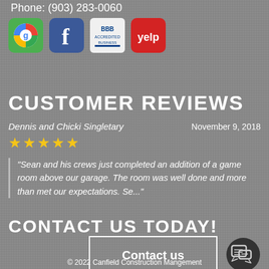Phone: (903) 283-0060
[Figure (logo): Social media icons: Google, Facebook, BBB, Yelp]
CUSTOMER REVIEWS
Dennis and Chicki Singletary    November 9, 2018
★★★★★
"Sean and his crews just completed an addition of a game room above our garage. The room was well done and more than met our expectations. Se..."
CONTACT US TODAY!
Contact us
[Figure (illustration): Chat/message icon in dark circle]
© 2022 Canfield Construction Mangement